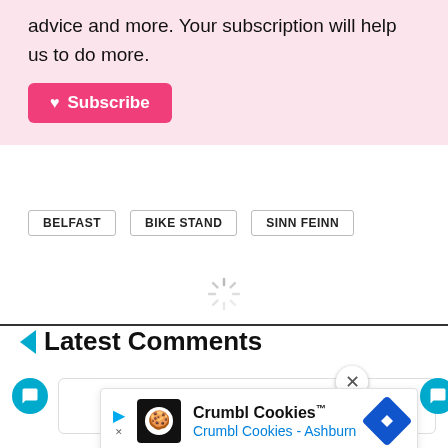advice and more. Your subscription will help us to do more.
Subscribe
BELFAST
BIKE STAND
SINN FEINN
[Figure (other): Loading spinner icon]
Latest Comments
[Figure (other): Advertisement overlay: Crumbl Cookies™ - Crumbl Cookies - Ashburn, with logo and directional arrow icon]